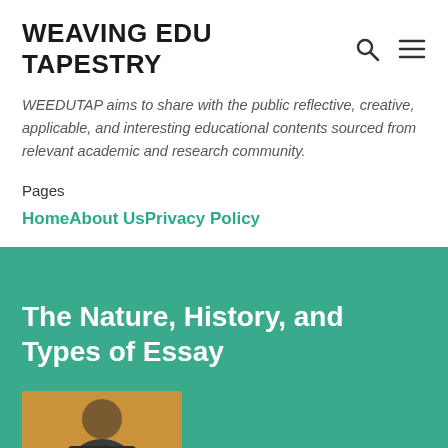WEAVING EDU TAPESTRY
WEEDUTAP aims to share with the public reflective, creative, applicable, and interesting educational contents sourced from relevant academic and research community.
Pages
Home
About Us
Privacy Policy
The Nature, History, and Types of Essay
[Figure (photo): Author photo - man in dark clothing against tan/golden background, cropped at bottom of page]